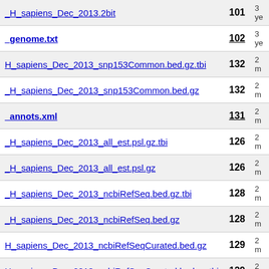| Filename | Num | Date |
| --- | --- | --- |
| H_sapiens_Dec_2013.2bit | 101 | 3 ye... |
| _genome.txt | 102 | 3 ye... |
| H_sapiens_Dec_2013_snp153Common.bed.gz.tbi | 132 | 2 m... |
| H_sapiens_Dec_2013_snp153Common.bed.gz | 132 | 2 m... |
| _annots.xml | 131 | 2 m... |
| H_sapiens_Dec_2013_all_est.psl.gz.tbi | 126 | 2 m... |
| H_sapiens_Dec_2013_all_est.psl.gz | 126 | 2 m... |
| H_sapiens_Dec_2013_ncbiRefSeq.bed.gz.tbi | 128 | 2 m... |
| H_sapiens_Dec_2013_ncbiRefSeq.bed.gz | 128 | 2 m... |
| H_sapiens_Dec_2013_ncbiRefSeqCurated.bed.gz | 129 | 2 m... |
| H_sapiens_Dec_2013_ncbiRefSeqCurated.bed.gz.tbi | 129 | 2 m... |